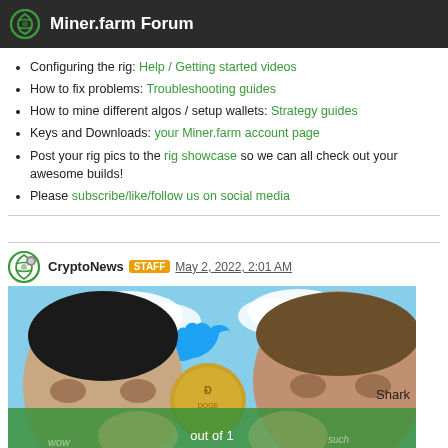Miner.farm Forum
Configuring the rig: Help / Getting started videos
How to fix problems: Troubleshooting guides
How to mine different algos / setup wallets: Strategy guides
Keys and Downloads: your Miner.farm account page
Post your rig pics to the rig showcase so we can all check out your awesome builds!
Please subscribe/like/follow us on social media
CryptoNews STAFF May 2, 2022, 2:01 AM
[Figure (photo): Composite photo showing two men's faces against a blue sky with Twitter bird logos and a Dogecoin coin. A green Doge meme dog overlay is at the bottom. Text reads 'Shark' on the right and 'out of 1' on the green overlay.]